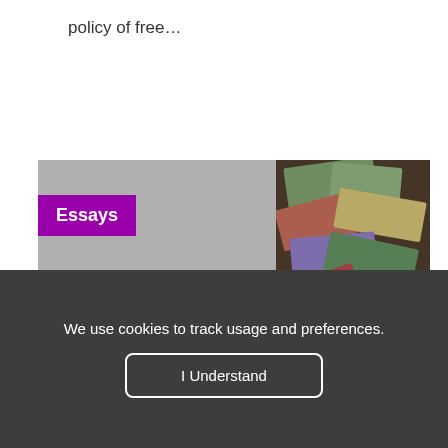policy of free…
[Figure (photo): A pile of scattered international paper banknotes and currency bills photographed from above, colorful and disheveled]
Essays
We use cookies to track usage and preferences.
I Understand